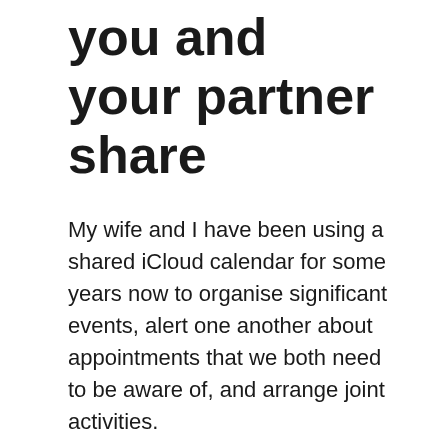you and your partner share
My wife and I have been using a shared iCloud calendar for some years now to organise significant events, alert one another about appointments that we both need to be aware of, and arrange joint activities.
This helps us schedule doctor’s appointments, activities for the kids, and other social engagements that we will be attending. We have someone coming over tomorrow to fix our broken oven, and you can guarantee that we have this event marked on each of our individual calendars.
Because we share a calendar, we are both aware of key occasions. This is helpful for me because, like